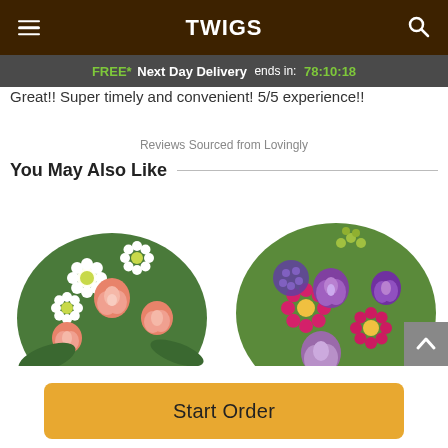TWIGS
FREE* Next Day Delivery ends in: 78:10:18
Great!! Super timely and convenient! 5/5 experience!!
Reviews Sourced from Lovingly
You May Also Like
[Figure (photo): Floral bouquet with peach/salmon roses and white daisies with green foliage]
[Figure (photo): Floral arrangement with magenta gerbera daisies, purple roses, lavender roses, and green foliage]
Start Order